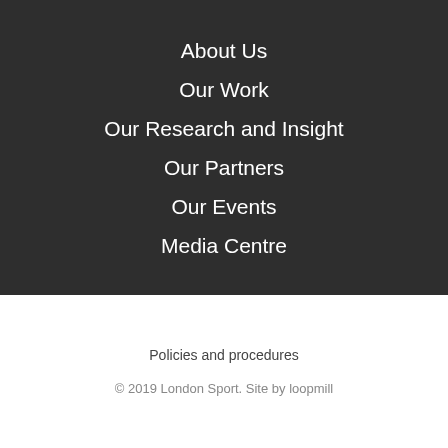About Us
Our Work
Our Research and Insight
Our Partners
Our Events
Media Centre
Policies and procedures
© 2019 London Sport. Site by loopmill